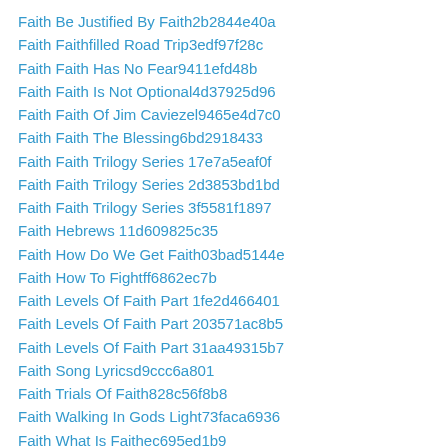Faith Be Justified By Faith2b2844e40a
Faith Faithfilled Road Trip3edf97f28c
Faith Faith Has No Fear9411efd48b
Faith Faith Is Not Optional4d37925d96
Faith Faith Of Jim Caviezel9465e4d7c0
Faith Faith The Blessing6bd2918433
Faith Faith Trilogy Series 17e7a5eaf0f
Faith Faith Trilogy Series 2d3853bd1bd
Faith Faith Trilogy Series 3f5581f1897
Faith Hebrews 11d609825c35
Faith How Do We Get Faith03bad5144e
Faith How To Fightff6862ec7b
Faith Levels Of Faith Part 1fe2d466401
Faith Levels Of Faith Part 203571ac8b5
Faith Levels Of Faith Part 31aa49315b7
Faith Song Lyricsd9ccc6a801
Faith Trials Of Faith828c56f8b8
Faith Walking In Gods Light73faca6936
Faith What Is Faithec695ed1b9
Faith Your Faith Wholec1527804df